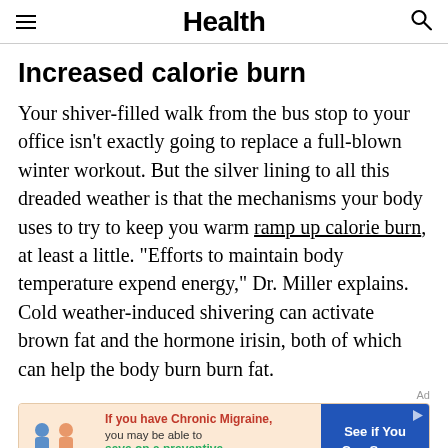Health
Increased calorie burn
Your shiver-filled walk from the bus stop to your office isn't exactly going to replace a full-blown winter workout. But the silver lining to all this dreaded weather is that the mechanisms your body uses to try to keep you warm ramp up calorie burn, at least a little. "Efforts to maintain body temperature expend energy," Dr. Miller explains. Cold weather-induced shivering can activate brown fat and the hormone irisin, both of which can help the body burn burn fat.
[Figure (infographic): Advertisement banner: peach background with illustrated figures and dollar coins on left, red text 'If you have Chronic Migraine, you may be able to save on a preventive treatment.' in middle, blue button 'See if You Can Save' on right. UNB145824 05/21 watermark.]